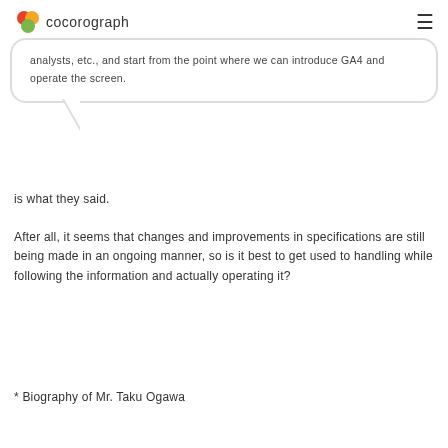cocorograph
analysts, etc., and start from the point where we can introduce GA4 and operate the screen.
is what they said.
After all, it seems that changes and improvements in specifications are still being made in an ongoing manner, so is it best to get used to handling while following the information and actually operating it?
* Biography of Mr. Taku Ogawa